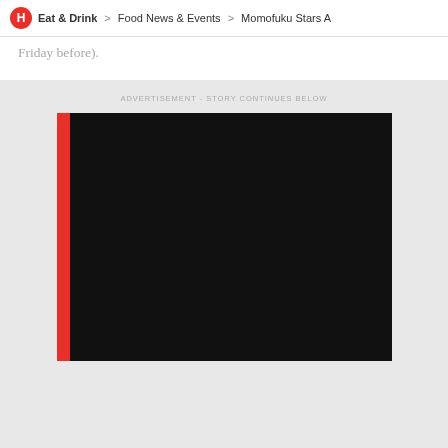H > Eat & Drink > Food News & Events > Momofuku Stars A
Friday before).
ADVERTISEMENT - STORY CONTINUES BELOW
[Figure (other): Advertisement placeholder with a black background and a red vertical bar on the left side]